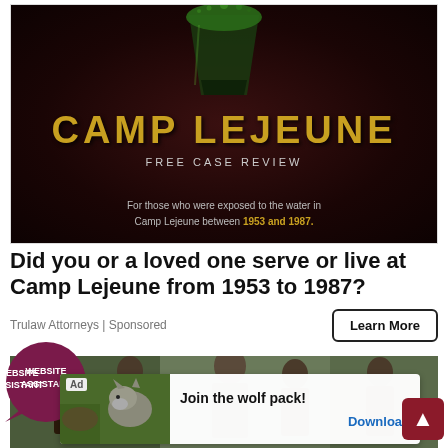[Figure (photo): Dark advertisement banner for Camp Lejeune Free Case Review. Shows a green liquid-filled glass on a dark red/brown background with the text 'CAMP LEJEUNE' in large gold letters, 'FREE CASE REVIEW' in white spaced letters, and body text reading 'For those who were exposed to the water in Camp Lejeune between 1953 and 1987.']
Did you or a loved one serve or live at Camp Lejeune from 1953 to 1987?
Trulaw Attorneys | Sponsored
[Figure (screenshot): Advertisement showing a group of people (appearing to be from an Indian film/show), with a wolf advertisement overlay showing 'Join the wolf pack!' and a 'Download' button, plus a 'Website Assistant' badge and a scroll-up button.]